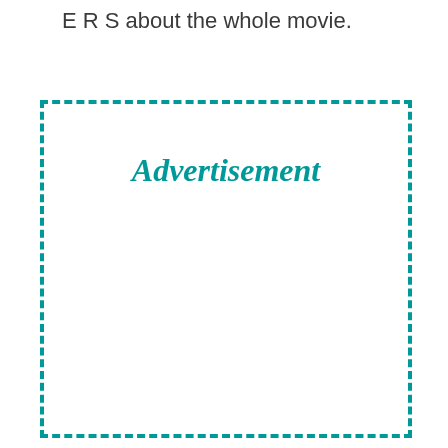E R S about the whole movie.
[Figure (other): Advertisement placeholder box with dashed teal border and italic bold teal text reading 'Advertisement']